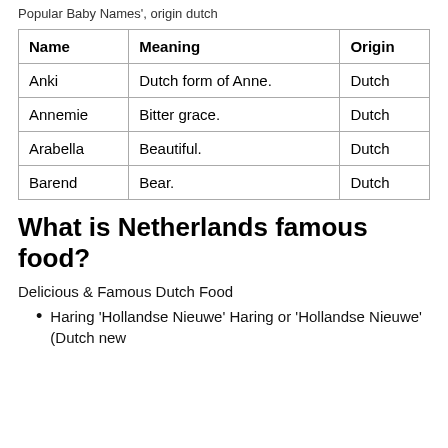Popular Baby Names', origin dutch
| Name | Meaning | Origin |
| --- | --- | --- |
| Anki | Dutch form of Anne. | Dutch |
| Annemie | Bitter grace. | Dutch |
| Arabella | Beautiful. | Dutch |
| Barend | Bear. | Dutch |
What is Netherlands famous food?
Delicious & Famous Dutch Food
Haring 'Hollandse Nieuwe' Haring or 'Hollandse Nieuwe' (Dutch new...